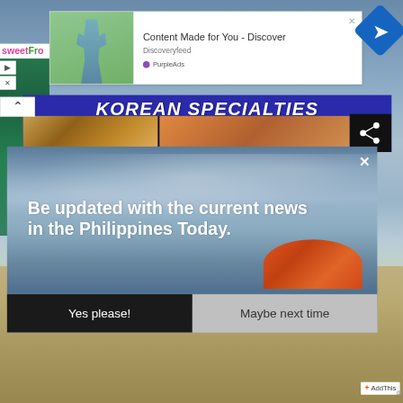[Figure (screenshot): Browser screenshot showing a webpage with multiple overlapping UI elements: an ad popup with 'Content Made for You - Discover' from Discoveryfeed with PurpleAds branding, a Korean Specialties food banner, a notification permission popup overlay with beach/sky background asking 'Be updated with the current news in the Philippines Today.' with Yes please! and Maybe next time buttons, and an AddThis sharing badge.]